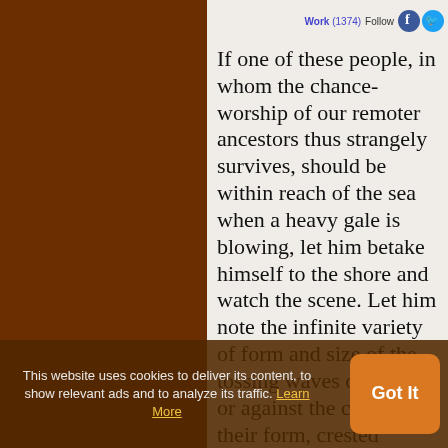Work (1374) Follow
If one of these people, in whom the chance-worship of our remoter ancestors thus strangely survives, should be within reach of the sea when a heavy gale is blowing, let him betake himself to the shore and watch the scene. Let him note the infinite variety of form and size of the tossing waves out at sea; or against the curves of their form, crested breakers, as they dash against the rocks; let him listen to the roar
This website uses cookies to deliver its content, to show relevant ads and to analyze its traffic. Learn More